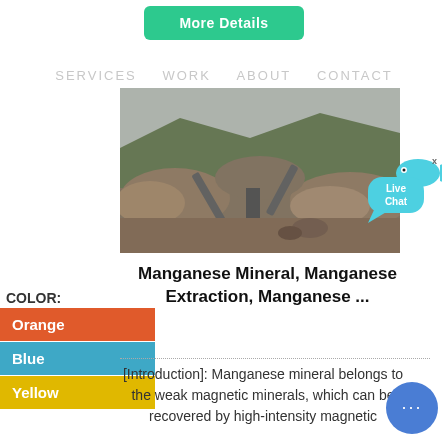[Figure (other): Green 'More Details' button]
SERVICES   WORK   ABOUT   CONTACT
[Figure (photo): Aerial view of a manganese mining site with conveyor belts, piles of ore, and hillside terrain under misty sky]
[Figure (other): Live Chat speech bubble widget with cyan color and fish icon]
Manganese Mineral, Manganese Extraction, Manganese ...
COLOR:
Orange
Blue
Yellow
[Introduction]: Manganese mineral belongs to the weak magnetic minerals, which can be recovered by high-intensity magnetic
[Figure (other): Blue round chat button with three dots]